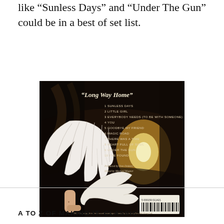like “Sunless Days” and “Under The Gun” could be in a best of set list.
[Figure (photo): Back cover of the album 'Long Way Home' showing a track listing (1. Sunless Days, 2. Little Girl, 3. Everybody Needs (To Be With Someone), 4. You, 5. Goodbye My Friend, 6. Magic Road, 7. There Was A Time, 8. Heart Full Of Soul, 9. Under The Gun, 10. I've Found), produced by Don Dokken, mixed by Michael Wagner. The cover shows an artistic image of a tunnel with light at the end, and angel wings illustration, plus a barcode.]
A TO Z OF MAKING IT. CLASSIC